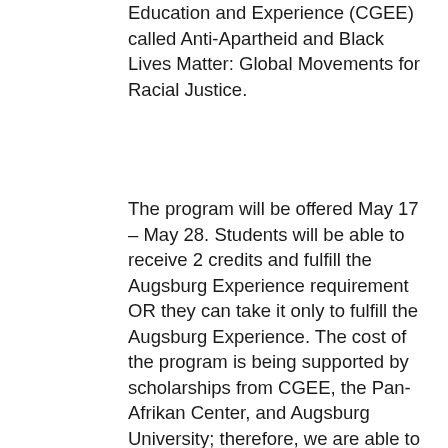Education and Experience (CGEE) called Anti-Apartheid and Black Lives Matter: Global Movements for Racial Justice.
The program will be offered May 17 – May 28. Students will be able to receive 2 credits and fulfill the Augsburg Experience requirement OR they can take it only to fulfill the Augsburg Experience. The cost of the program is being supported by scholarships from CGEE, the Pan-Afrikan Center, and Augsburg University; therefore, we are able to offer it at a reduced price.
Program participants will critically analyze the global racial unrest movements of the Southern Africa Anti-Apartheid system, and the racially motivated murder of George Floyd in Minneapolis. Albertina Shifotoka, Program Director of CGEE Namibia, and Azania Tripp, Director of the Pan-Afrikan Center, will facilitate a 2-week program